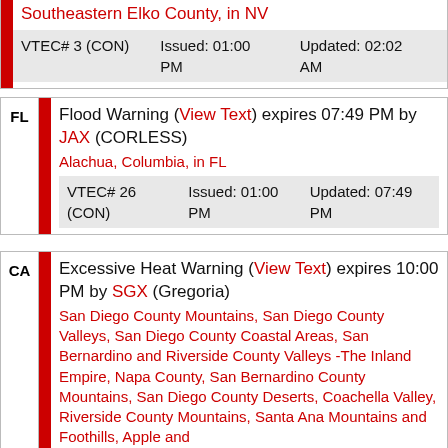Southeastern Elko County, in NV
| VTEC# 3 (CON) | Issued: 01:00 PM | Updated: 02:02 AM |
| --- | --- | --- |
FL - Flood Warning (View Text) expires 07:49 PM by JAX (CORLESS)
Alachua, Columbia, in FL
| VTEC# 26 (CON) | Issued: 01:00 PM | Updated: 07:49 PM |
| --- | --- | --- |
CA - Excessive Heat Warning (View Text) expires 10:00 PM by SGX (Gregoria)
San Diego County Mountains, San Diego County Valleys, San Diego County Coastal Areas, San Bernardino and Riverside County Valleys -The Inland Empire, Napa County, San Bernardino County Mountains, San Diego County Deserts, Coachella Valley, Riverside County Mountains, Santa Ana Mountains and Foothills, Apple and